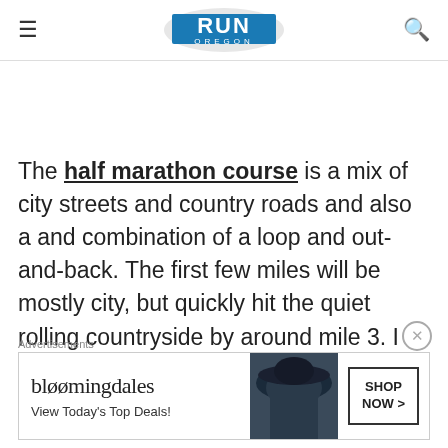RUN OREGON
The half marathon course is a mix of city streets and country roads and also a and combination of a loop and out-and-back. The first few miles will be mostly city, but quickly hit the quiet rolling countryside by around mile 3. I have not been as far west as the course
Advertisements
[Figure (other): Bloomingdales advertisement banner with woman in hat. Text: bloomingdales, View Today's Top Deals!, SHOP NOW >]